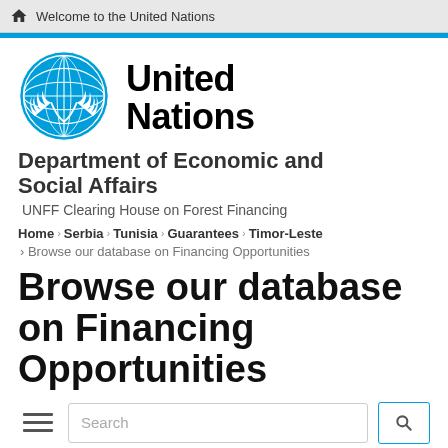Welcome to the United Nations
[Figure (logo): United Nations emblem - blue globe with olive branches]
United Nations
Department of Economic and Social Affairs
UNFF Clearing House on Forest Financing
Home › Serbia › Tunisia › Guarantees › Timor-Leste › Browse our database on Financing Opportunities
Browse our database on Financing Opportunities